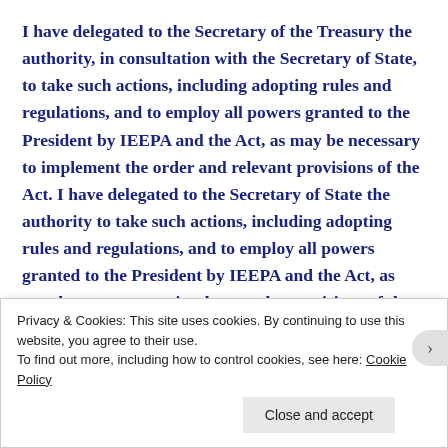I have delegated to the Secretary of the Treasury the authority, in consultation with the Secretary of State, to take such actions, including adopting rules and regulations, and to employ all powers granted to the President by IEEPA and the Act, as may be necessary to implement the order and relevant provisions of the Act. I have delegated to the Secretary of State the authority to take such actions, including adopting rules and regulations, and to employ all powers granted to the President by IEEPA and the Act, as may be necessary to implement the provisions of the order and the Act suspending entry into the United States of
Privacy & Cookies: This site uses cookies. By continuing to use this website, you agree to their use.
To find out more, including how to control cookies, see here: Cookie Policy
Close and accept